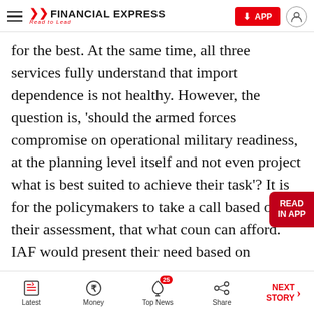Financial Express — Read to Lead
for the best. At the same time, all three services fully understand that import dependence is not healthy. However, the question is, 'should the armed forces compromise on operational military readiness, at the planning level itself and not even project what is best suited to achieve their task'? It is for the policymakers to take a call based on their assessment, that what coun can afford. IAF would present their need based on professional calculations. It is for the policymakers to take a call, on whether they
Latest | Money | Top News 25 | Share | NEXT STORY